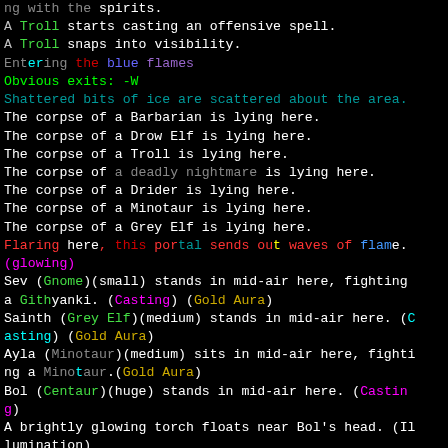ng with the spirits.
A Troll starts casting an offensive spell.
A Troll snaps into visibility.
Entering the blue flames
Obvious exits: -W
Shattered bits of ice are scattered about the area.
The corpse of a Barbarian is lying here.
The corpse of a Drow Elf is lying here.
The corpse of a Troll is lying here.
The corpse of a deadly nightmare is lying here.
The corpse of a Drider is lying here.
The corpse of a Minotaur is lying here.
The corpse of a Grey Elf is lying here.
Flaring here, this portal sends out waves of flame.
(glowing)
Sev (Gnome)(small) stands in mid-air here, fighting a Githyanki. (Casting) (Gold Aura)
Sainth (Grey Elf)(medium) stands in mid-air here. (Casting) (Gold Aura)
Ayla (Minotaur)(medium) sits in mid-air here, fighting a Minotaur.(Gold Aura)
Bol (Centaur)(huge) stands in mid-air here. (Casting)
A brightly glowing torch floats near Bol's head. (Illumination)